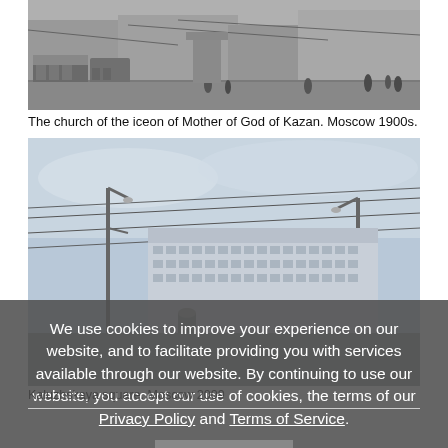[Figure (photo): Black and white historical photo of a Moscow street scene with trams and pedestrians, early 1900s]
The church of the iceon of Mother of God of Kazan. Moscow 1900s.
[Figure (photo): Color photo of Kaluzhskaya square in Moscow, 2009, showing a large Soviet-era building and trolleybus wires]
We use cookies to improve your experience on our website, and to facilitate providing you with services available through our website. By continuing to use our website, you accept our use of cookies, the terms of our Privacy Policy and Terms of Service.
Kaluzhskaya square. Moscow 2009